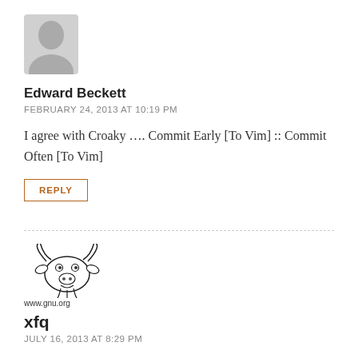[Figure (illustration): Gray silhouette avatar placeholder icon of a person]
Edward Beckett
FEBRUARY 24, 2013 AT 10:19 PM
I agree with Croaky …. Commit Early [To Vim] :: Commit Often [To Vim]
REPLY
[Figure (logo): GNU mascot wildebeest logo with www.gnu.org text below]
xfq
JULY 16, 2013 AT 8:29 PM
What about ErgoEmacs? Common keyboard shortcuts are